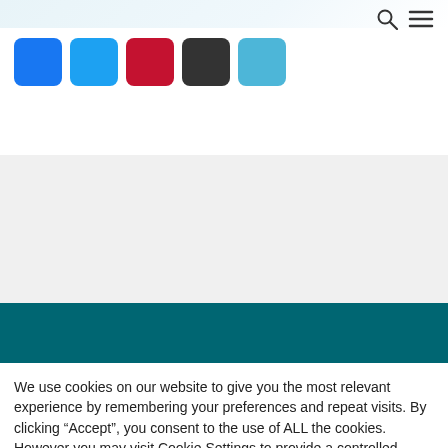[Figure (other): Row of 5 social media icon squares: Facebook (blue), Twitter (light blue), YouTube/Pinterest (red), LinkedIn/other (dark gray), and another (teal/light blue)]
We use cookies on our website to give you the most relevant experience by remembering your preferences and repeat visits. By clicking “Accept”, you consent to the use of ALL the cookies. However you may visit Cookie Settings to provide a controlled consent.
Cookie settings
ACCEPT